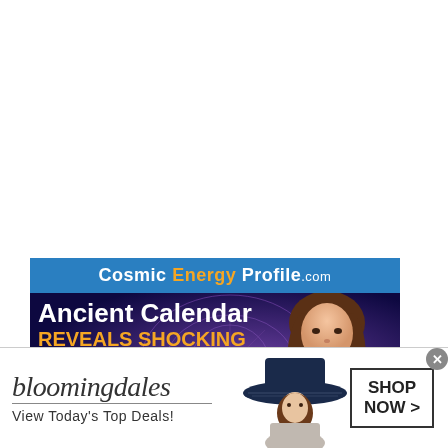[Figure (infographic): Cosmic Energy Profile .com advertisement banner. Blue header with 'Cosmic Energy Profile.com' text. Dark blue/purple body with text 'Ancient Calendar REVEALS SHOCKING TRUTHS About Your BIRTHDATE!' and a woman's photo on the right.]
[Figure (infographic): Bloomingdales advertisement banner. White background with Bloomingdales italic logo, underline, tagline 'View Today's Top Deals!', woman in large hat, and 'SHOP NOW >' button. Close button (x) in top right corner.]